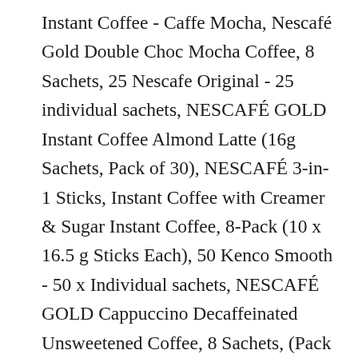Instant Coffee - Caffe Mocha, Nescafé Gold Double Choc Mocha Coffee, 8 Sachets, 25 Nescafe Original - 25 individual sachets, NESCAFÉ GOLD Instant Coffee Almond Latte (16g Sachets, Pack of 30), NESCAFÉ 3-in-1 Sticks, Instant Coffee with Creamer & Sugar Instant Coffee, 8-Pack (10 x 16.5 g Sticks Each), 50 Kenco Smooth - 50 x Individual sachets, NESCAFÉ GOLD Cappuccino Decaffeinated Unsweetened Coffee, 8 Sachets, (Pack of 6, Total 48 Sachets), New - Starbucks Instant Coffee - Cappuccino, 100 (4 x 25) x Douwe Egberts Pure Gold 1 Cup Coffee Sachets, Starbucks Instant Medium Roast and Microground Coffee (Pike Place Roast) 8 – 3.3g Packets, Nescafe 3in1 Original EU Made Long